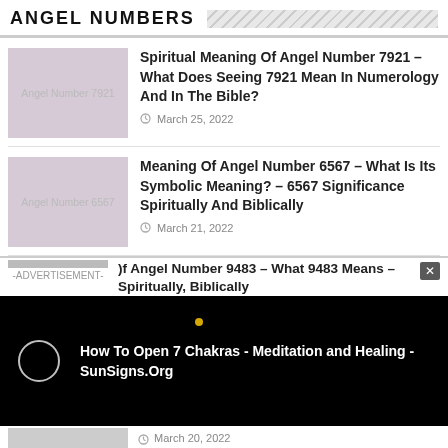ANGEL NUMBERS
Spiritual Meaning Of Angel Number 7921 – What Does Seeing 7921 Mean In Numerology And In The Bible?
March 25, 2022
Meaning Of Angel Number 6567 – What Is Its Symbolic Meaning? – 6567 Significance Spiritually And Biblically
March 21, 2022
-ADVERTISEMENT-
)f Angel Number 9483 – What 9483 Means – Spiritually, Biblically
[Figure (screenshot): Video player overlay on black background showing 'How To Open 7 Chakras - Meditation and Healing - SunSigns.Org' with a circular play button icon]
March 20, 2022
[Figure (screenshot): BitLife advertisement banner with 'NOW WITH GOD MODE' text on cyan background with hand graphic]